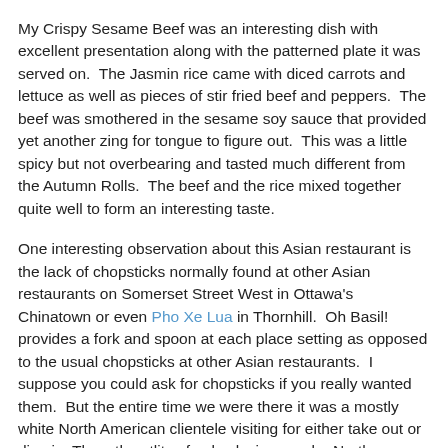My Crispy Sesame Beef was an interesting dish with excellent presentation along with the patterned plate it was served on.  The Jasmin rice came with diced carrots and lettuce as well as pieces of stir fried beef and peppers.  The beef was smothered in the sesame soy sauce that provided yet another zing for tongue to figure out.  This was a little spicy but not overbearing and tasted much different from the Autumn Rolls.  The beef and the rice mixed together quite well to form an interesting taste.
One interesting observation about this Asian restaurant is the lack of chopsticks normally found at other Asian restaurants on Somerset Street West in Ottawa's Chinatown or even Pho Xe Lua in Thornhill.  Oh Basil! provides a fork and spoon at each place setting as opposed to the usual chopsticks at other Asian restaurants.  I suppose you could ask for chopsticks if you really wanted them.  But the entire time we were there it was a mostly white North American clientele visiting for either take out or dine in. Thus, the utlity of only placing regular North American cutlery on the tables.